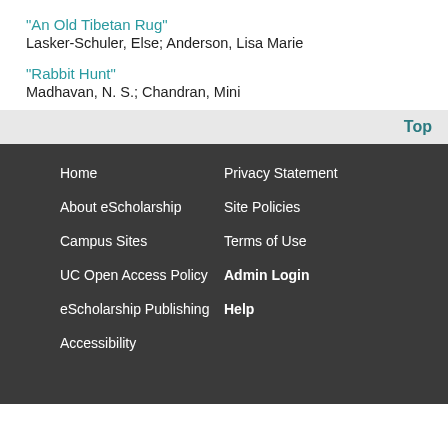"An Old Tibetan Rug"
Lasker-Schuler, Else; Anderson, Lisa Marie
"Rabbit Hunt"
Madhavan, N. S.; Chandran, Mini
Top
Home
Privacy Statement
About eScholarship
Site Policies
Campus Sites
Terms of Use
UC Open Access Policy
Admin Login
eScholarship Publishing
Help
Accessibility